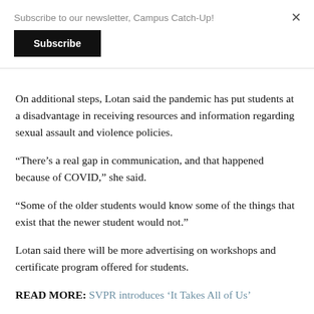Subscribe to our newsletter, Campus Catch-Up!
Subscribe
×
On additional steps, Lotan said the pandemic has put students at a disadvantage in receiving resources and information regarding sexual assault and violence policies.
“There’s a real gap in communication, and that happened because of COVID,” she said.
“Some of the older students would know some of the things that exist that the newer student would not.”
Lotan said there will be more advertising on workshops and certificate program offered for students.
READ MORE: SVPR introduces ‘It Takes All of Us’